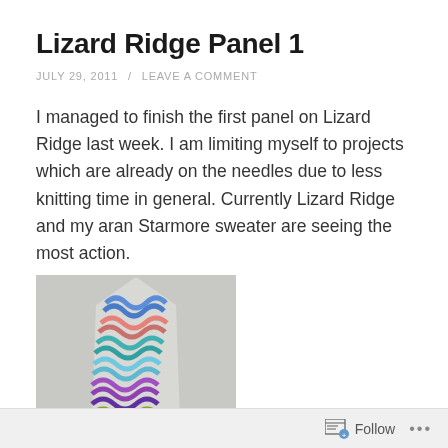Lizard Ridge Panel 1
JULY 29, 2011 / LEAVE A COMMENT
I managed to finish the first panel on Lizard Ridge last week. I am limiting myself to projects which are already on the needles due to less knitting time in general. Currently Lizard Ridge and my aran Starmore sweater are seeing the most action.
[Figure (photo): A knitted panel in multiple colors including blue, pink, teal, purple, and green-yellow showing a wave or zigzag pattern, photographed against a light background.]
Follow ...